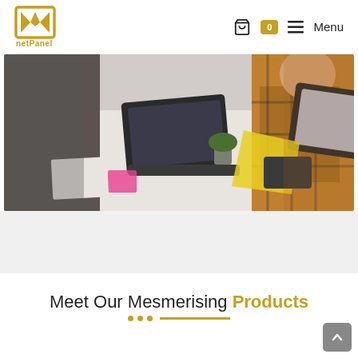netPanel — Menu (cart: 0)
[Figure (photo): People working around a table with laptops, notebooks, sticky notes; overhead/angled view]
Meet Our Mesmerising Products